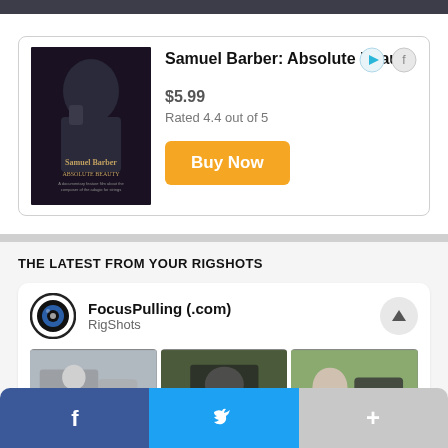[Figure (screenshot): Dark top browser/app bar]
[Figure (illustration): Advertisement card: book 'Samuel Barber: Absolute Beauty' with book cover image, price $5.99, rating 'Rated 4.4 out of 5', and an orange 'Buy Now' button. Ad icons (play triangle and Facebook-like icon) in top right.]
Samuel Barber: Absolute Beauty
$5.99
Rated 4.4 out of 5
THE LATEST FROM YOUR RIGSHOTS
[Figure (screenshot): RigShots social card for FocusPulling(.com) with avatar (circular camera lens icon), username 'FocusPulling (.com)', subtitle 'RigShots', and three photo thumbnails of people with camera equipment.]
FocusPulling (.com)
RigShots
[Figure (screenshot): Bottom bar with Facebook (dark blue), Twitter (blue), and a plus/more (gray) share buttons]